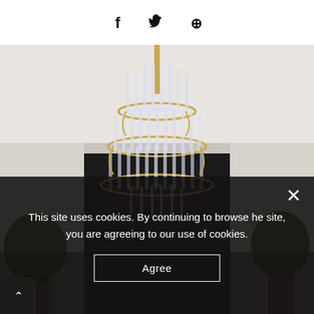[Figure (other): Social sharing icons: Facebook (f), Twitter (bird), Pinterest (P) displayed horizontally centered on white background]
[Figure (photo): Luxury chandelier with gold frame and glass tubes/candles hanging in an elegant room with black marble wall panel and green plants on either side, white wainscoting walls]
This site uses cookies. By continuing to browse the site, you are agreeing to our use of cookies.
Agree